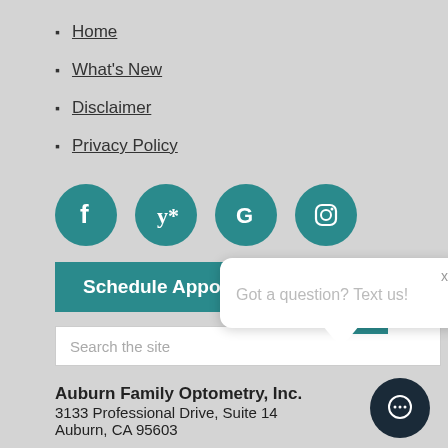Home
What's New
Disclaimer
Privacy Policy
[Figure (infographic): Four teal circular social media icons: Facebook, Yelp, Google, Instagram]
Schedule Appointment
Search the site
[Figure (infographic): White chat popup overlay with close X button and text 'Got a question? Text us!' with speech bubble tail pointing down, and a dark circular chat button in bottom right corner]
Auburn Family Optometry, Inc.
3133 Professional Drive, Suite 14
Auburn, CA 95603